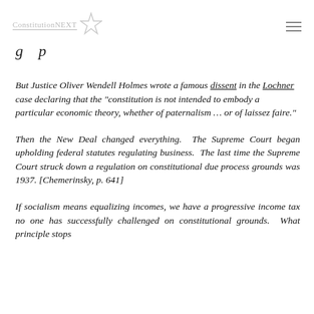ConstitutionNEXT
g p
But Justice Oliver Wendell Holmes wrote a famous dissent in the Lochner case declaring that the "constitution is not intended to embody a particular economic theory, whether of paternalism … or of laissez faire."
Then the New Deal changed everything. The Supreme Court began upholding federal statutes regulating business. The last time the Supreme Court struck down a regulation on constitutional due process grounds was 1937. [Chemerinsky, p. 641]
If socialism means equalizing incomes, we have a progressive income tax no one has successfully challenged on constitutional grounds. What principle stops